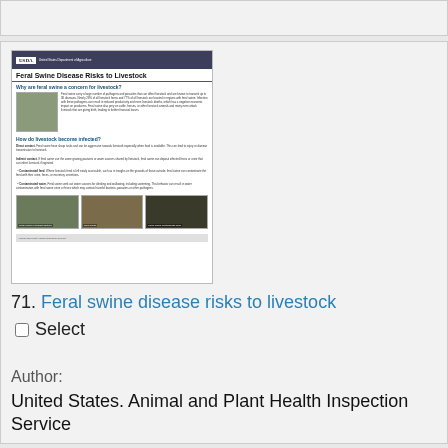[Figure (screenshot): Thumbnail preview of USDA document titled 'Feral Swine Disease Risks to Livestock' showing sections about why feral swine are a concern and how livestock become infected, with photos of feral swine and cattle]
71. Feral swine disease risks to livestock
Select
Author:
United States. Animal and Plant Health Inspection Service